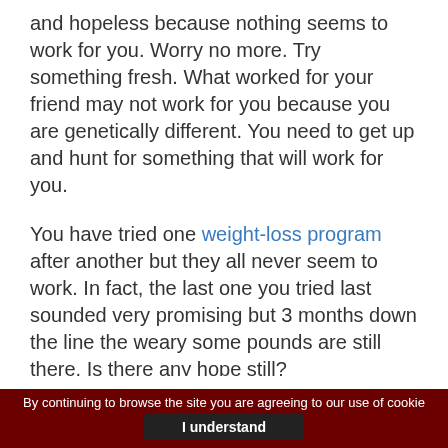and hopeless because nothing seems to work for you. Worry no more. Try something fresh. What worked for your friend may not work for you because you are genetically different. You need to get up and hunt for something that will work for you.
You have tried one weight-loss program after another but they all never seem to work. In fact, the last one you tried last sounded very promising but 3 months down the line the weary some pounds are still there. Is there any hope still?
But you must get rid of those extra pounds. Too much weight is already weighing you
By continuing to browse the site you are agreeing to our use of cookies   I understand